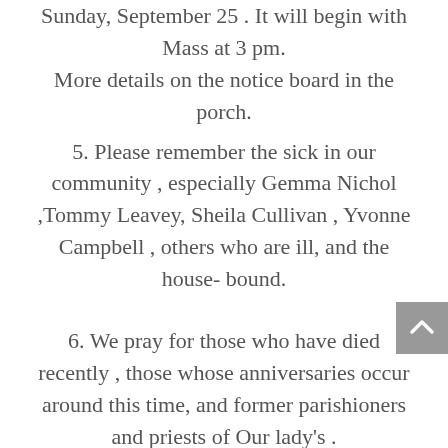Sunday, September 25 . It will begin with Mass at 3 pm. More details on the notice board in the porch.
5. Please remember the sick in our community , especially Gemma Nichol ,Tommy Leavey, Sheila Cullivan , Yvonne Campbell , others who are ill, and the house- bound.
6. We pray for those who have died recently , those whose anniversaries occur around this time, and former parishioners and priests of Our lady's .
7. For something the August 2000 will